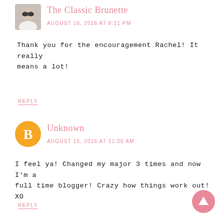[Figure (photo): Avatar photo of The Classic Brunette - small profile picture of a woman with sunglasses]
The Classic Brunette
AUGUST 16, 2016 AT 8:11 PM
Thank you for the encouragement Rachel! It really means a lot!
REPLY
[Figure (logo): Blogger orange circle avatar icon with white B letter]
Unknown
AUGUST 15, 2016 AT 11:00 AM
I feel ya! Changed my major 3 times and now I'm a full time blogger! Crazy how things work out! XO
REPLY
[Figure (other): Pink circle back-to-top arrow button in bottom right corner]